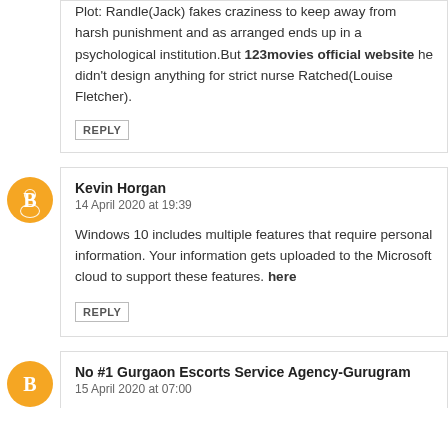Plot: Randle(Jack) fakes craziness to keep away from harsh punishment and as arranged ends up in a psychological institution.But 123movies official website he didn't design anything for strict nurse Ratched(Louise Fletcher).
REPLY
Kevin Horgan
14 April 2020 at 19:39
Windows 10 includes multiple features that require personal information. Your information gets uploaded to the Microsoft cloud to support these features. here
REPLY
No #1 Gurgaon Escorts Service Agency-Gurugram
15 April 2020 at 07:00